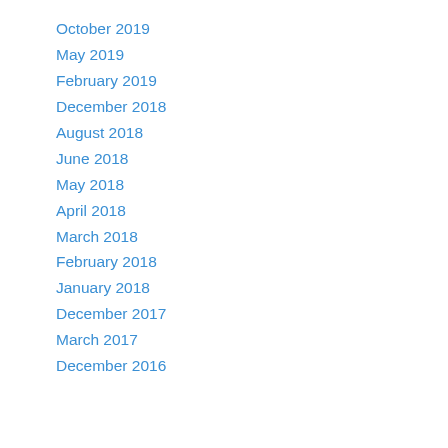October 2019
May 2019
February 2019
December 2018
August 2018
June 2018
May 2018
April 2018
March 2018
February 2018
January 2018
December 2017
March 2017
December 2016